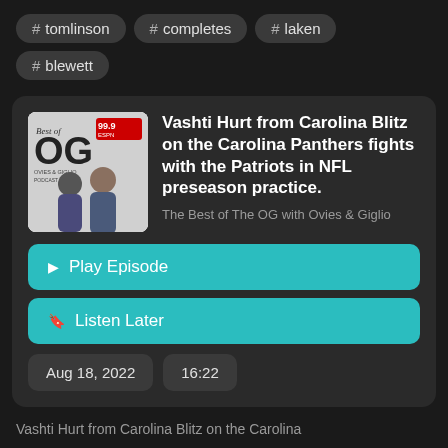# tomlinson
# completes
# laken
# blewett
Vashti Hurt from Carolina Blitz on the Carolina Panthers fights with the Patriots in NFL preseason practice.
The Best of The OG with Ovies & Giglio
▶ Play Episode
🔖 Listen Later
Aug 18, 2022
16:22
Vashti Hurt from Carolina Blitz on the Carolina